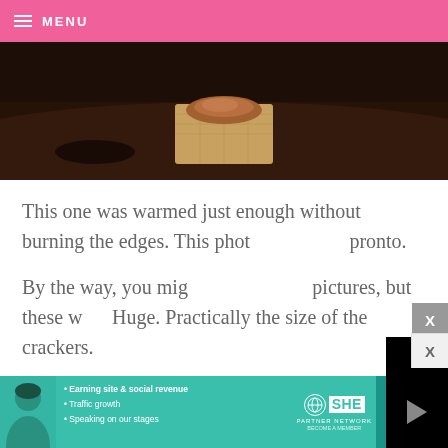≡ MENU
[Figure (photo): Close-up photo of a cracker with peanut butter or caramel spread on it, on a dark background]
This one was warmed just enough without burning the edges. This phot[o was taken] pronto.
By the way, you mig[ht notice in the] pictures, but these w[ere] Huge. Practically the size of the crackers.
[Figure (screenshot): Embedded video player showing a dark/black screen with a play button, progress bar showing 13:52, and media controls including mute, CC, grid, settings, and fullscreen buttons]
[Figure (photo): Advertisement banner for SHE Partner Network featuring a woman, bullet points about earning site & social revenue, traffic growth, speaking on stages, and a Learn More button]